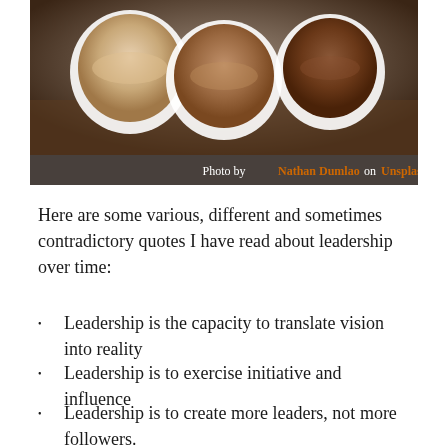[Figure (photo): Three coffee cups with different shades of coffee (latte, cappuccino, espresso) viewed from above on a wooden surface. Photo credit: Nathan Dumlao on Unsplash.]
Photo by Nathan Dumlao on Unsplash
Here are some various, different and sometimes contradictory quotes I have read about leadership over time:
Leadership is the capacity to translate vision into reality
Leadership is to exercise initiative and influence
Leadership is to create more leaders, not more followers.
Leadership is not measurable, followership is à evaluate leadership through the measure of followership
Leadership is to go first.